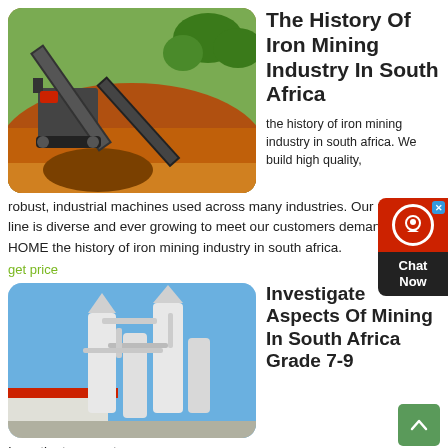[Figure (photo): Mining machinery with conveyor belts on a red soil hillside with green trees in background]
The History Of Iron Mining Industry In South Africa
the history of iron mining industry in south africa. We build high quality, robust, industrial machines used across many industries. Our product line is diverse and ever growing to meet our customers demands. HOME the history of iron mining industry in south africa.
get price
[Figure (photo): Industrial milling or grinding machinery with white cylindrical towers and pipes against a blue sky, with red-roofed building]
Investigate Aspects Of Mining In South Africa Grade 7-9
Investigate aspects